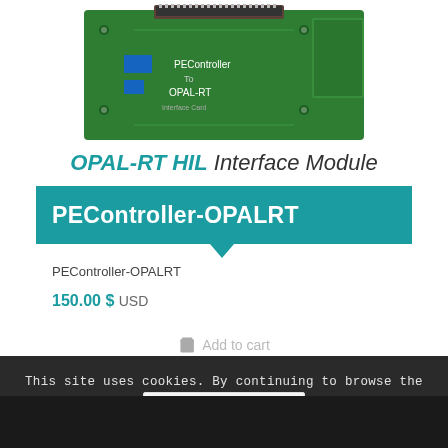[Figure (photo): Green PCB circuit board labeled 'PEController To OPAL-RT Interface Card' with connectors]
OPAL-RT HIL Interface Module
PEController-OPALRT
PEController-OPALRT
150.00 $ USD
Add to cart
This site uses cookies. By continuing to browse the site, you are agreeing to our use of cookies.
OK